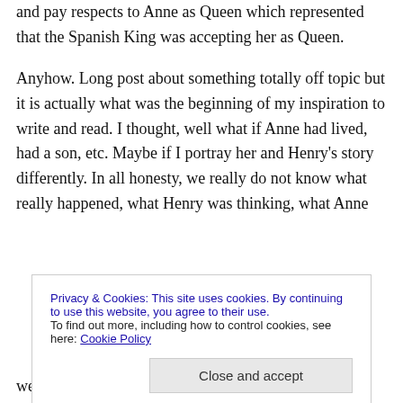and pay respects to Anne as Queen which represented that the Spanish King was accepting her as Queen.
Anyhow. Long post about something totally off topic but it is actually what was the beginning of my inspiration to write and read. I thought, well what if Anne had lived, had a son, etc. Maybe if I portray her and Henry's story differently. In all honesty, we really do not know what really happened, what Henry was thinking, what Anne
Privacy & Cookies: This site uses cookies. By continuing to use this website, you agree to their use.
To find out more, including how to control cookies, see here: Cookie Policy
were. As you stated, what someone may like